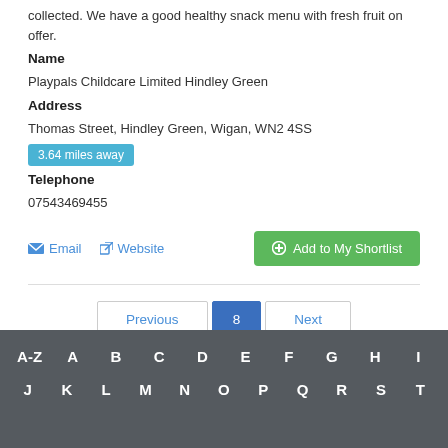collected. We have a good healthy snack menu with fresh fruit on offer.
Name
Playpals Childcare Limited Hindley Green
Address
Thomas Street, Hindley Green, Wigan, WN2 4SS
3.64 miles away
Telephone
07543469455
Email   Website   Add to My Shortlist
Previous  8  Next
A-Z  A  B  C  D  E  F  G  H  I  J  K  L  M  N  O  P  Q  R  S  T